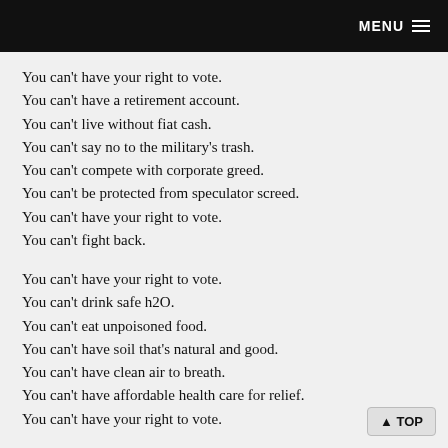MENU ☰
You can't have your right to vote.
You can't have a retirement account.
You can't live without fiat cash.
You can't say no to the military's trash.
You can't compete with corporate greed.
You can't be protected from speculator screed.
You can't have your right to vote.
You can't fight back.
You can't have your right to vote.
You can't drink safe h2O.
You can't eat unpoisoned food.
You can't have soil that's natural and good.
You can't have clean air to breath.
You can't have affordable health care for relief.
You can't have your right to vote.